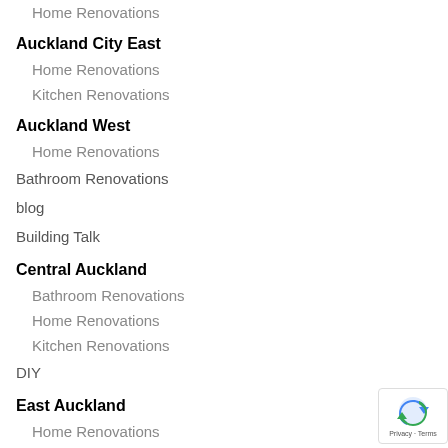Home Renovations
Auckland City East
Home Renovations
Kitchen Renovations
Auckland West
Home Renovations
Bathroom Renovations
blog
Building Talk
Central Auckland
Bathroom Renovations
Home Renovations
Kitchen Renovations
DIY
East Auckland
Home Renovations